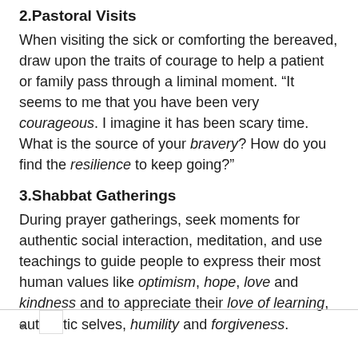2.Pastoral Visits
When visiting the sick or comforting the bereaved, draw upon the traits of courage to help a patient or family pass through a liminal moment. “It seems to me that you have been very courageous. I imagine it has been scary time. What is the source of your bravery? How do you find the resilience to keep going?”
3.Shabbat Gatherings
During prayer gatherings, seek moments for authentic social interaction, meditation, and use teachings to guide people to express their most human values like optimism, hope, love and kindness and to appreciate their love of learning, authentic selves, humility and forgiveness.